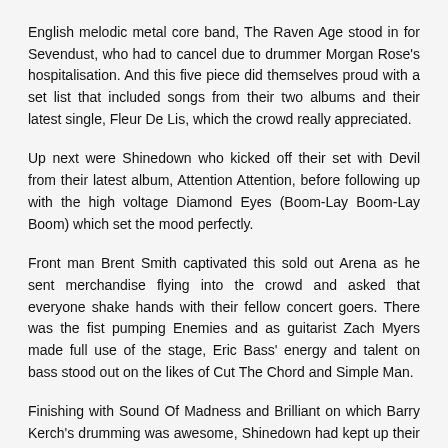English melodic metal core band, The Raven Age stood in for Sevendust, who had to cancel due to drummer Morgan Rose's hospitalisation. And this five piece did themselves proud with a set list that included songs from their two albums and their latest single, Fleur De Lis, which the crowd really appreciated.
Up next were Shinedown who kicked off their set with Devil from their latest album, Attention Attention, before following up with the high voltage Diamond Eyes (Boom-Lay Boom-Lay Boom) which set the mood perfectly.
Front man Brent Smith captivated this sold out Arena as he sent merchandise flying into the crowd and asked that everyone shake hands with their fellow concert goers. There was the fist pumping Enemies and as guitarist Zach Myers made full use of the stage, Eric Bass' energy and talent on bass stood out on the likes of Cut The Chord and Simple Man.
Finishing with Sound Of Madness and Brilliant on which Barry Kerch's drumming was awesome, Shinedown had kept up their end of the bargain to enthral and entertain with a set that ended too soon.